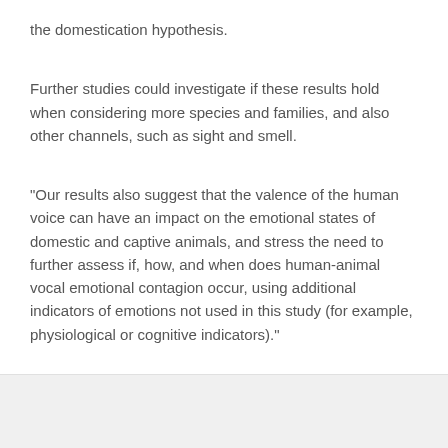the domestication hypothesis.
Further studies could investigate if these results hold when considering more species and families, and also other channels, such as sight and smell.
“Our results also suggest that the valence of the human voice can have an impact on the emotional states of domestic and captive animals, and stress the need to further assess if, how, and when does human-animal vocal emotional contagion occur, using additional indicators of emotions not used in this study (for example, physiological or cognitive indicators).”
[Figure (other): Up chevron / scroll-to-top arrow icon in blue, positioned at bottom right of gray area]